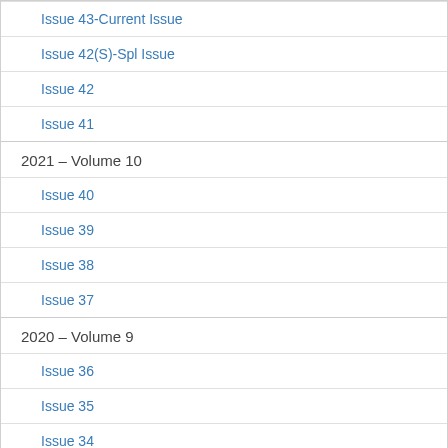Issue 43-Current Issue
Issue 42(S)-Spl Issue
Issue 42
Issue 41
2021 – Volume 10
Issue 40
Issue 39
Issue 38
Issue 37
2020 – Volume 9
Issue 36
Issue 35
Issue 34
Issue 34S – Special Issue